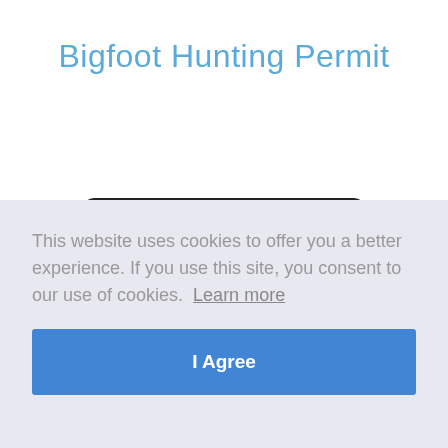Bigfoot Hunting Permit
[Figure (other): Green card with black border showing 'UNITED STATES' text in bold black letters on a bright green background, with a circular logo/emblem partially visible]
This website uses cookies to offer you a better experience. If you use this site, you consent to our use of cookies. Learn more
I Agree